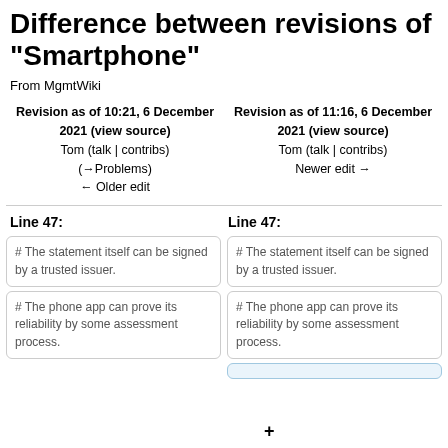Difference between revisions of "Smartphone"
From MgmtWiki
Revision as of 10:21, 6 December 2021 (view source)
Tom (talk | contribs)
(→Problems)
← Older edit
Revision as of 11:16, 6 December 2021 (view source)
Tom (talk | contribs)
Newer edit →
Line 47:
Line 47:
# The statement itself can be signed by a trusted issuer.
# The statement itself can be signed by a trusted issuer.
# The phone app can prove its reliability by some assessment process.
# The phone app can prove its reliability by some assessment process.